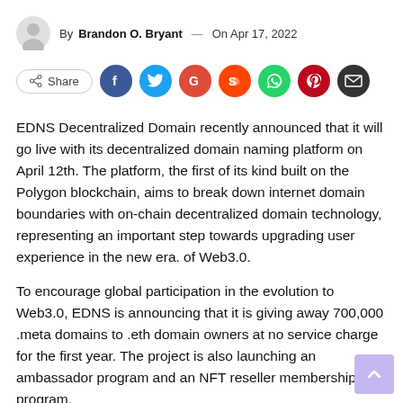By Brandon O. Bryant — On Apr 17, 2022
[Figure (infographic): Social share buttons row: Share button, Facebook, Twitter, Google, Reddit, WhatsApp, Pinterest, Email icons]
EDNS Decentralized Domain recently announced that it will go live with its decentralized domain naming platform on April 12th. The platform, the first of its kind built on the Polygon blockchain, aims to break down internet domain boundaries with on-chain decentralized domain technology, representing an important step towards upgrading user experience in the new era. of Web3.0.
To encourage global participation in the evolution to Web3.0, EDNS is announcing that it is giving away 700,000 .meta domains to .eth domain owners at no service charge for the first year. The project is also launching an ambassador program and an NFT reseller membership program.